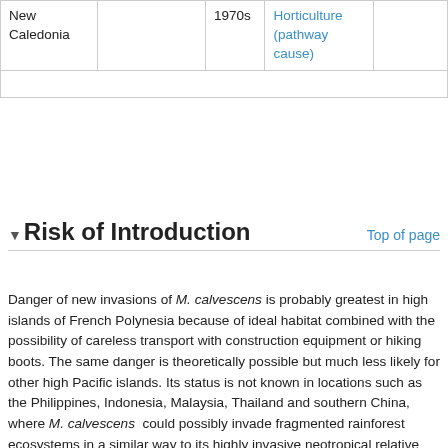| New Caledonia |  | 1970s | Horticulture (pathway cause) |  |
▼Risk of Introduction
Danger of new invasions of M. calvescens is probably greatest in high islands of French Polynesia because of ideal habitat combined with the possibility of careless transport with construction equipment or hiking boots. The same danger is theoretically possible but much less likely for other high Pacific islands. Its status is not known in locations such as the Philippines, Indonesia, Malaysia, Thailand and southern China, where M. calvescens could possibly invade fragmented rainforest ecosystems in a similar way to its highly invasive neotropical relative Clidemia hirta in Taiwan (Yang, 2001) and other Asian locations. Leung et al. (2010) state: "In tropical Asia, for example, a single "super-invader", Clidemia hirta (Melastomataceae), is the only exotic plant species to invade closed-canopy native forests in Singapore (Teo et al., 2003), at Pasoh, Malaysia (Peters, 2001), and at Sinharaja, Sri Lanka (Ashton et al., 2001)." Leung et al. (2010) observed that rose apple (Syzygium jambos, Myrtaceae) was the only